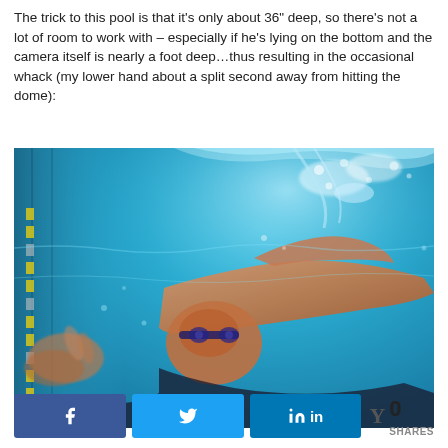The trick to this pool is that it's only about 36" deep, so there's not a lot of room to work with – especially if he's lying on the bottom and the camera itself is nearly a foot deep…thus resulting in the occasional whack (my lower hand about a split second away from hitting the dome):
[Figure (photo): Underwater photograph of a male swimmer in a pool, viewed from below. The swimmer is wearing goggles and swim trunks, with one arm reaching up out of frame. The pool water is bright blue with surface disturbance visible above. Lane lines are visible on the left side.]